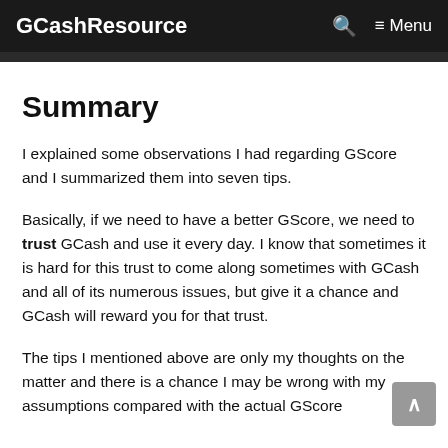GCashResource  🔍  ≡ Menu
Summary
I explained some observations I had regarding GScore and I summarized them into seven tips.
Basically, if we need to have a better GScore, we need to trust GCash and use it every day. I know that sometimes it is hard for this trust to come along sometimes with GCash and all of its numerous issues, but give it a chance and GCash will reward you for that trust.
The tips I mentioned above are only my thoughts on the matter and there is a chance I may be wrong with my assumptions compared with the actual GScore